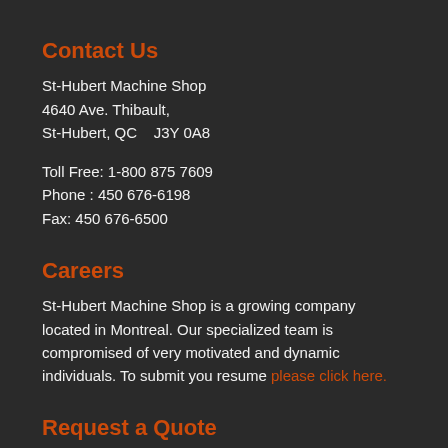Contact Us
St-Hubert Machine Shop
4640 Ave. Thibault,
St-Hubert, QC   J3Y 0A8
Toll Free: 1-800 875 7609
Phone : 450 676-6198
Fax: 450 676-6500
Careers
St-Hubert Machine Shop is a growing company located in Montreal. Our specialized team is compromised of very motivated and dynamic individuals. To submit you resume please click here.
Request a Quote
Get a free quote on any of our maintenance and repair